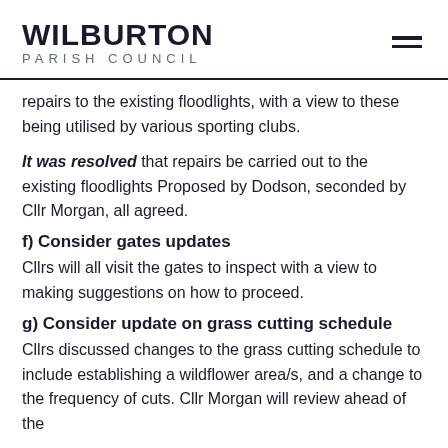WILBURTON PARISH COUNCIL
repairs to the existing floodlights, with a view to these being utilised by various sporting clubs.
It was resolved that repairs be carried out to the existing floodlights Proposed by Dodson, seconded by Cllr Morgan, all agreed.
f) Consider gates updates
Cllrs will all visit the gates to inspect with a view to making suggestions on how to proceed.
g) Consider update on grass cutting schedule
Cllrs discussed changes to the grass cutting schedule to include establishing a wildflower area/s, and a change to the frequency of cuts. Cllr Morgan will review ahead of the